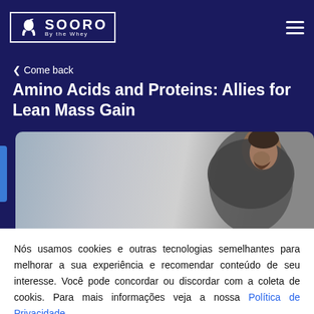SOORO By the Whey
< Come back
Amino Acids and Proteins: Allies for Lean Mass Gain
[Figure (photo): Man in athletic hoodie looking down, against light gray background]
Nós usamos cookies e outras tecnologias semelhantes para melhorar a sua experiência e recomendar conteúdo de seu interesse. Você pode concordar ou discordar com a coleta de cookis. Para mais informações veja a nossa Política de Privacidade.
DISCORDO    CONCORDO